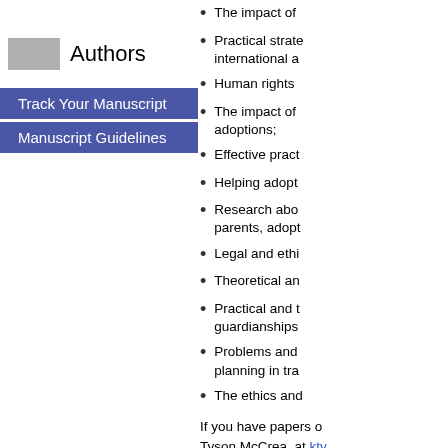[Figure (logo): Gray rectangle logo placeholder next to Authors text]
Authors
Track Your Manuscript
Manuscript Guidelines
The impact of
Practical strate international a
Human rights
The impact of adoptions;
Effective pract
Helping adopt
Research abo parents, adopt
Legal and ethi
Theoretical an
Practical and t guardianships
Problems and planning in tra
The ethics and
If you have papers o Tyson McCrea, at kty